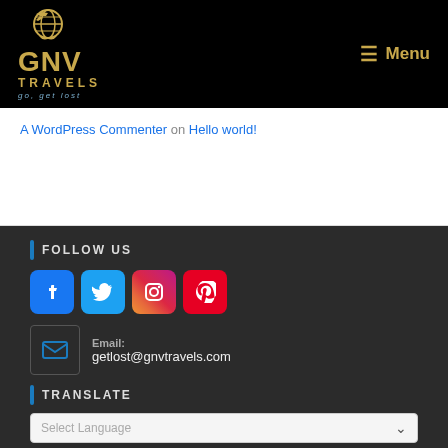[Figure (logo): GNV Travels logo with globe icon, golden GNV text, TRAVELS subtitle, and 'go, get lost' tagline on black background]
≡ Menu
A WordPress Commenter on Hello world!
FOLLOW US
[Figure (infographic): Social media icons: Facebook (blue), Twitter (blue), Instagram (gradient), Pinterest (red)]
Email: getlost@gnvtravels.com
TRANSLATE
Select Language